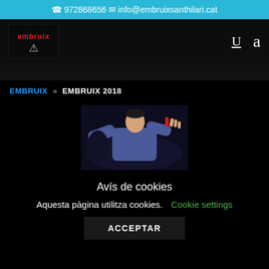☎ 972868656  ✉ info@embruixsanthilari.cat
[Figure (logo): Embruix logo with red text 'embruix' and white bull skull icon on dark background]
U  a
EMBRUIX » EMBRUIX 2018
[Figure (photo): Performer on stage with arms outstretched wearing blue shirt, dark background]
Avís de cookies
Aquesta pàgina utilitza cookies.
Cookie settings
ACCEPTAR